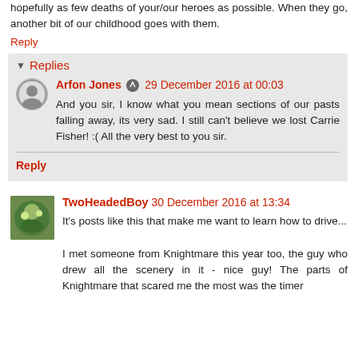hopefully as few deaths of your/our heroes as possible. When they go, another bit of our childhood goes with them.
Reply
Replies
Arfon Jones  29 December 2016 at 00:03
And you sir, I know what you mean sections of our pasts falling away, its very sad. I still can't believe we lost Carrie Fisher! :( All the very best to you sir.
Reply
TwoHeadedBoy  30 December 2016 at 13:34
It's posts like this that make me want to learn how to drive...
I met someone from Knightmare this year too, the guy who drew all the scenery in it - nice guy! The parts of Knightmare that scared me the most was the timer